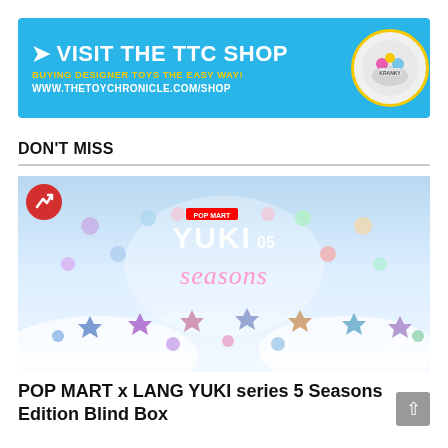[Figure (infographic): Blue banner advertisement for TTC Shop with text: VISIT THE TTC SHOP, BUYING DESIGNER TOYS THE EASY WAY!, WWW.THETOYCHRONICLE.COM/SHOP, with a circular product image on the right]
DON'T MISS
[Figure (photo): POP MART x LANG YUKI series 5 Seasons Edition blind box promotional image showing colorful crystal/gem figurines on a snowy background with the text YUKI 05 and 'seasons' in pink cursive. A red trending badge with upward arrow is in the top-left corner.]
POP MART x LANG YUKI series 5 Seasons Edition Blind Box